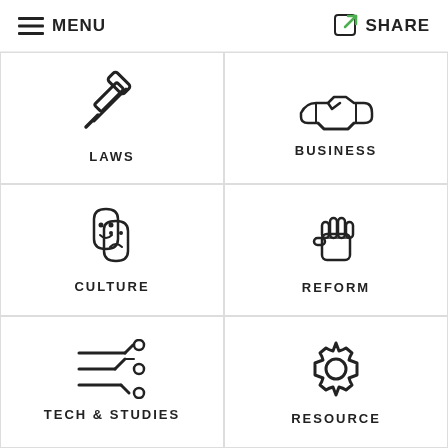MENU  SHARE
[Figure (illustration): Gavel/hammer icon representing LAWS category]
LAWS
[Figure (illustration): Handshake icon representing BUSINESS category]
BUSINESS
[Figure (illustration): Theatre masks icon representing CULTURE category]
CULTURE
[Figure (illustration): Raised fist icon representing REFORM category]
REFORM
[Figure (illustration): Circuit/tech lines icon representing TECH & STUDIES category]
TECH & STUDIES
[Figure (illustration): Gear/cog icon representing RESOURCE category]
RESOURCE